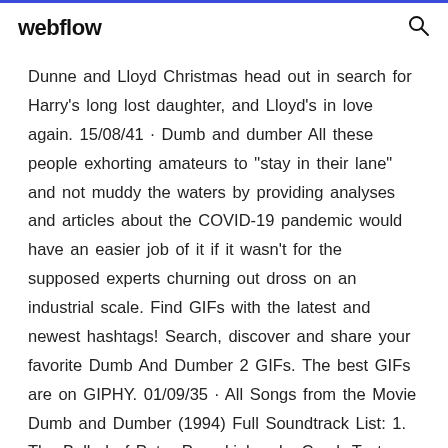webflow
Dunne and Lloyd Christmas head out in search for Harry's long lost daughter, and Lloyd's in love again. 15/08/41 · Dumb and dumber All these people exhorting amateurs to "stay in their lane" and not muddy the waters by providing analyses and articles about the COVID-19 pandemic would have an easier job of it if it wasn't for the supposed experts churning out dross on an industrial scale. Find GIFs with the latest and newest hashtags! Search, discover and share your favorite Dumb And Dumber 2 GIFs. The best GIFs are on GIPHY. 01/09/35 · All Songs from the Movie Dumb and Dumber (1994) Full Soundtrack List: 1. The Ballad of Peter Pumpkinhead - Crash Test